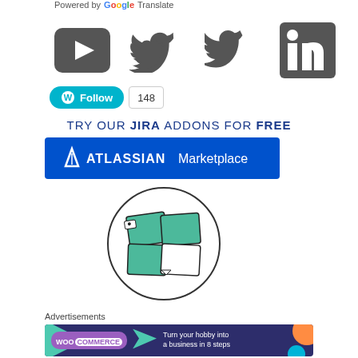Powered by Google Translate
[Figure (logo): YouTube, Twitter, and LinkedIn social media icons in dark gray]
[Figure (infographic): WordPress Follow button with count badge showing 148]
TRY OUR JIRA ADDONS FOR FREE
[Figure (logo): Atlassian Marketplace logo on blue background]
[Figure (logo): Circular icon with green and white card/sticky note grid illustration]
Advertisements
[Figure (infographic): WooCommerce advertisement banner: Turn your hobby into a business in 8 steps]